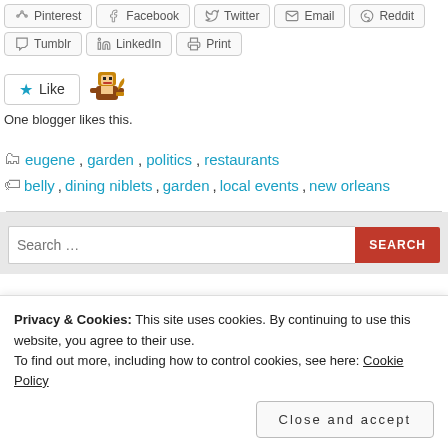Pinterest, Facebook, Twitter, Email, Reddit
Tumblr, LinkedIn, Print
[Figure (other): Like button with star icon and blogger avatar image]
One blogger likes this.
eugene, garden, politics, restaurants
belly, dining niblets, garden, local events, new orleans
[Figure (screenshot): Search bar with red SEARCH button on grey background]
Privacy & Cookies: This site uses cookies. By continuing to use this website, you agree to their use.
To find out more, including how to control cookies, see here: Cookie Policy
Close and accept